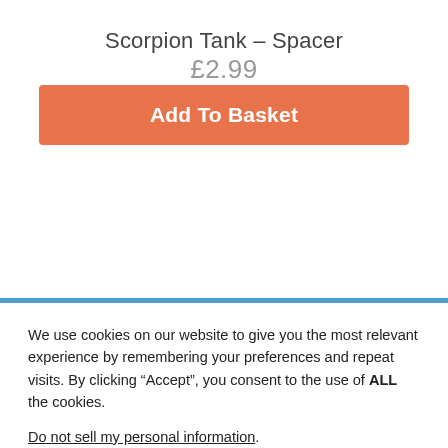Scorpion Tank – Spacer
£2.99
Add To Basket
We use cookies on our website to give you the most relevant experience by remembering your preferences and repeat visits. By clicking “Accept”, you consent to the use of ALL the cookies.
Do not sell my personal information.
Cookie Settings
Accept